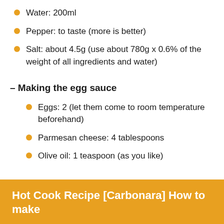Water: 200ml
Pepper: to taste (more is better)
Salt: about 4.5g (use about 780g x 0.6% of the weight of all ingredients and water)
– Making the egg sauce
Eggs: 2 (let them come to room temperature beforehand)
Parmesan cheese: 4 tablespoons
Olive oil: 1 teaspoon (as you like)
Hot Cook Recipe [Carbonara] How to make